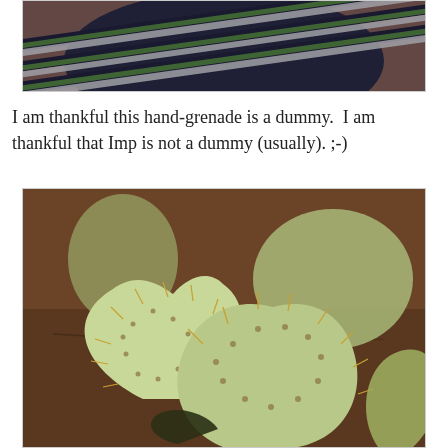[Figure (photo): Close-up photo of a person wearing a navy, white, and green striped shirt]
I am thankful this hand-grenade is a dummy.  I am thankful that Imp is not a dummy (usually). ;-)
[Figure (photo): Close-up photo of prickly pear cactus pads with spines, on brown earthy ground]